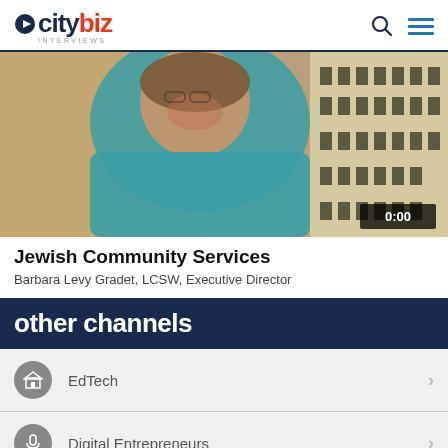citybiz INTERVIEWS
[Figure (photo): Woman in teal blazer smiling, interviewed on citybiz, with building facade in background. Duration timestamp 0:00 shown in lower right.]
Jewish Community Services
Barbara Levy Gradet, LCSW, Executive Director
other channels
EdTech
Digital Entrepreneurs